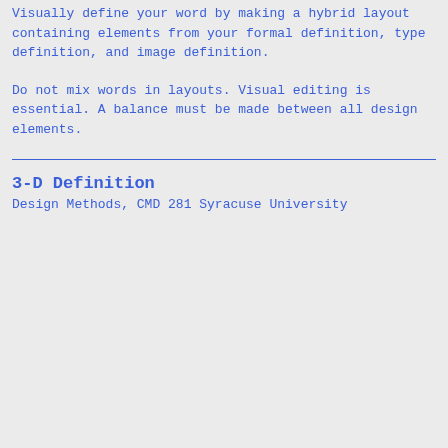Visually define your word by making a hybrid layout containing elements from your formal definition, type definition, and image definition.
Do not mix words in layouts. Visual editing is essential. A balance must be made between all design elements.
3-D Definition
Design Methods, CMD 281 Syracuse University